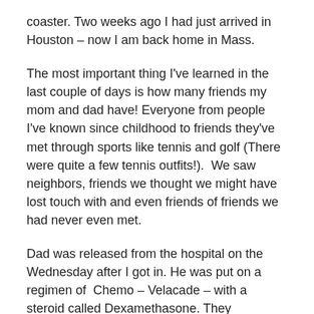coaster. Two weeks ago I had just arrived in Houston – now I am back home in Mass.
The most important thing I've learned in the last couple of days is how many friends my mom and dad have! Everyone from people I've known since childhood to friends they've met through sports like tennis and golf (There were quite a few tennis outfits!).  We saw neighbors, friends we thought we might have lost touch with and even friends of friends we had never even met.
Dad was released from the hospital on the Wednesday after I got in. He was put on a regimen of  Chemo – Velacade – with a steroid called Dexamethasone. They administered the first dose before we left from the hospital.